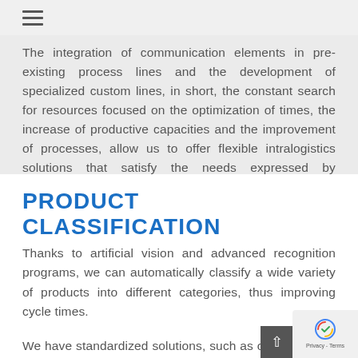≡
The integration of communication elements in pre-existing process lines and the development of specialized custom lines, in short, the constant search for resources focused on the optimization of times, the increase of productive capacities and the improvement of processes, allow us to offer flexible intralogistics solutions that satisfy the needs expressed by customers.
PRODUCT CLASSIFICATION
Thanks to artificial vision and advanced recognition programs, we can automatically classify a wide variety of products into different categories, thus improving cycle times.
We have standardized solutions, such as our MCR unit, which, equipped with 3D vision cameras with the latest